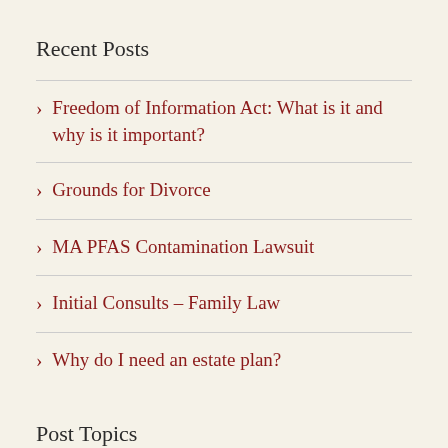Recent Posts
Freedom of Information Act: What is it and why is it important?
Grounds for Divorce
MA PFAS Contamination Lawsuit
Initial Consults – Family Law
Why do I need an estate plan?
Post Topics
Bankruptcy Law